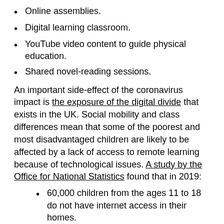Online assemblies.
Digital learning classroom.
YouTube video content to guide physical education.
Shared novel-reading sessions.
An important side-effect of the coronavirus impact is the exposure of the digital divide that exists in the UK. Social mobility and class differences mean that some of the poorest and most disadvantaged children are likely to be affected by a lack of access to remote learning because of technological issues. A study by the Office for National Statistics found that in 2019:
60,000 children from the ages 11 to 18 do not have internet access in their homes.
Around 700,000 children do not have a computer, laptop or tablet with which to access